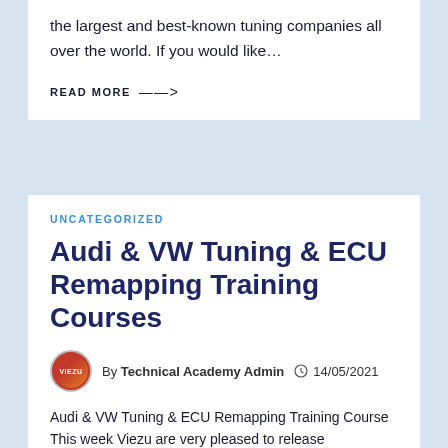the largest and best-known tuning companies all over the world. If you would like…
READ MORE →
UNCATEGORIZED
Audi & VW Tuning & ECU Remapping Training Courses
By Technical Academy Admin  14/05/2021
Audi & VW Tuning & ECU Remapping Training Course This week Viezu are very pleased to release